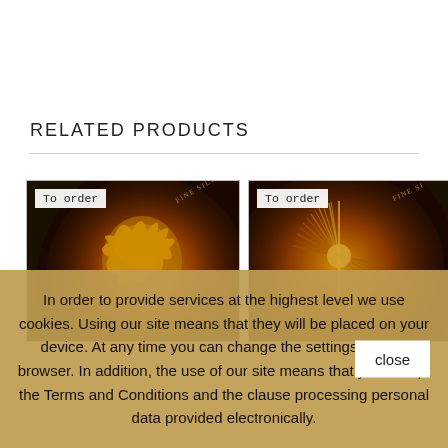RELATED PRODUCTS
[Figure (photo): Coin with lion motif, gold and black coloring, text 'ENGLAND FINE SILVER' visible on rim, 'To order' badge overlay]
[Figure (photo): Coin with feather/sunburst motif, gold and black coloring, text 'EDWARD FINE SI...' visible on rim, 'To order' badge overlay]
In order to provide services at the highest level we use cookies. Using our site means that they will be placed on your device. At any time you can change the settings of your browser. In addition, the use of our site means that you accept the Terms and Conditions and the clause processing personal data provided electronically.